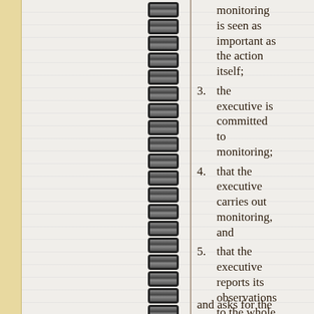monitoring is seen as important as the action itself;
3. the executive is committed to monitoring;
4. that the executive carries out monitoring, and
5. that the executive reports its observations to the whole community,
and asks for the